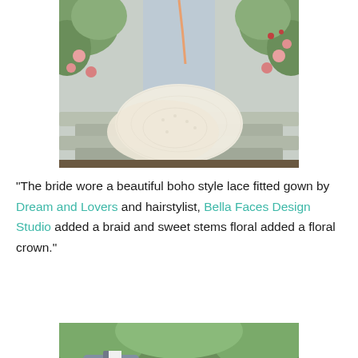[Figure (photo): Wedding photo showing the train of a lace boho bridal gown spread across rustic wooden steps/bleachers, with green foliage and pink roses in the background]
"The bride wore a beautiful boho style lace fitted gown by Dream and Lovers and hairstylist, Bella Faces Design Studio added a braid and sweet stems floral added a floral crown."
[Figure (photo): Wedding photo showing a couple, the groom in a grey suit and the bride in a white strapless gown holding an orange and white floral bouquet, with greenery in the background]